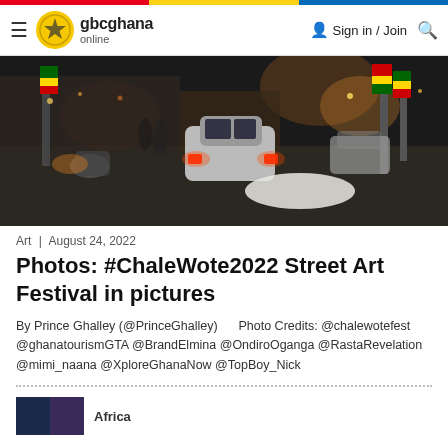gbcghana online | Sign in / Join
[Figure (photo): Night street scene with cars, motorcycles, and colorful banners/flags on posts. A white sheet on the ground. Busy urban road at night with city lights.]
Art | August 24, 2022
Photos: #ChaleWote2022 Street Art Festival in pictures
By Prince Ghalley (@PrinceGhalley)      Photo Credits: @chalewotefest @ghanatourismGTA @BrandElmina @OndiroOganga @RastaRevelation @mimi_naana @XploreGhanaNow @TopBoy_Nick
Africa